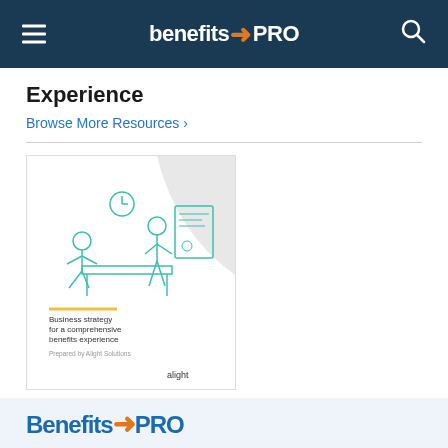benefitsPRO
Experience
Browse More Resources ›
[Figure (illustration): White paper cover image showing 'Business strategy for a comprehensive benefits experience' by Alight, with a teal line illustration of people in a meeting room]
WHITE PAPER
SPONSORED BY ALIGHT SOLUTIONS
Help Your Clients Offer Comprehensive Benefits
Browse More Resources ›
BenefitsPRO